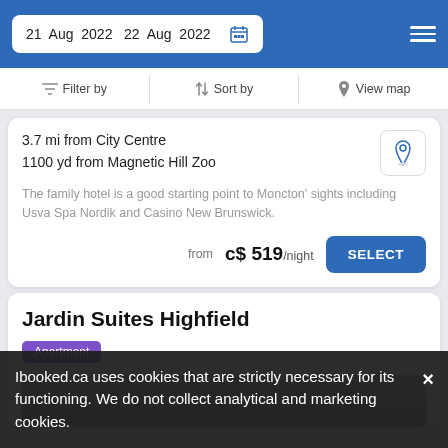21 Aug 2022  22 Aug 2022
Filter by  Sort by  View map
3.7 mi from City Centre
1100 yd from Magnetic Hill Zoo
The family hotel is a good starting point to Moncton' sights including Usva Spa Nordik and Casino New Brunswick.
from  c$ 519/night
Jardin Suites Highfield
Apartment
Ibooked.ca uses cookies that are strictly necessary for its functioning. We do not collect analytical and marketing cookies.